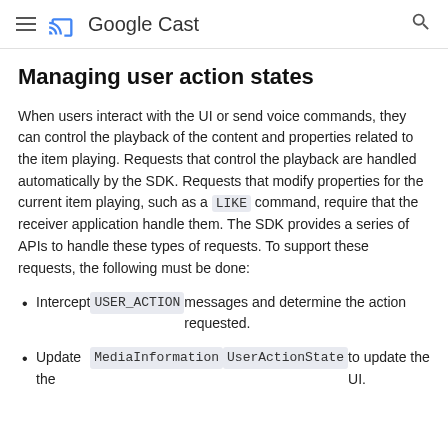Google Cast
Managing user action states
When users interact with the UI or send voice commands, they can control the playback of the content and properties related to the item playing. Requests that control the playback are handled automatically by the SDK. Requests that modify properties for the current item playing, such as a LIKE command, require that the receiver application handle them. The SDK provides a series of APIs to handle these types of requests. To support these requests, the following must be done:
Intercept USER_ACTION messages and determine the action requested.
Update the MediaInformation UserActionState to update the UI.